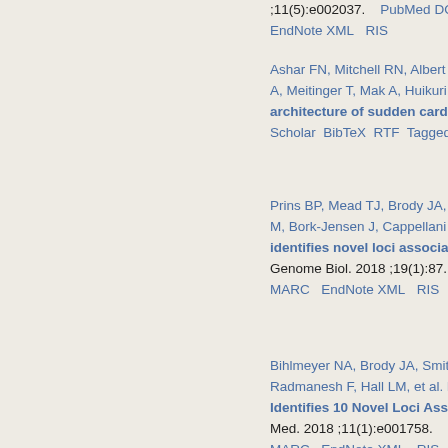;11(5):e002037.    PubMed DOI Google Scholar EndNote XML RIS
Ashar FN, Mitchell RN, Albert CM, M, Meitinger T, Mak A, Huikuri H, et al. architecture of sudden cardiac ar... Scholar BibTeX RTF Tagged MARC...
Prins BP, Mead TJ, Brody JA, Svein... M, Bork-Jensen J, Cappellani S, Va... identifies novel loci associated w... Genome Biol. 2018 ;19(1):87.   Pu... MARC EndNote XML RIS
Bihlmeyer NA, Brody JA, Smith AVe... Radmanesh F, Hall LM, et al. Exom... Identifies 10 Novel Loci Associate... Med. 2018 ;11(1):e001758.   PubM... MARC EndNote XML RIS
van Setten J, Brody JA, Jamshidi Y, FM, Evans DS, Gibson Q, Gudbjarts... association meta-analysis identifi...